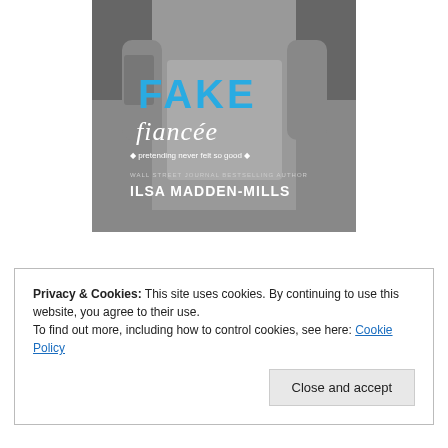[Figure (illustration): Book cover for 'Fake Fiancée' by Ilsa Madden-Mills. Black and white photo of a muscular man in a t-shirt with a woman's arms wrapped around him. Title text: 'FAKE' in large blue block letters, 'fiancée' in white cursive script, subtitle 'pretending never felt so good', author credit 'WALL STREET JOURNAL BESTSELLING AUTHOR ILSA MADDEN-MILLS'.]
Privacy & Cookies: This site uses cookies. By continuing to use this website, you agree to their use.
To find out more, including how to control cookies, see here: Cookie Policy
Close and accept